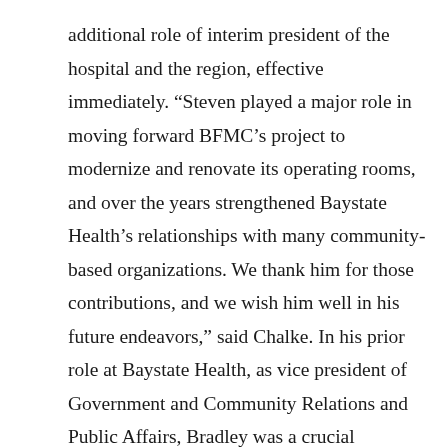additional role of interim president of the hospital and the region, effective immediately. “Steven played a major role in moving forward BFMC’s project to modernize and renovate its operating rooms, and over the years strengthened Baystate Health’s relationships with many community-based organizations. We thank him for those contributions, and we wish him well in his future endeavors,” said Chalke. In his prior role at Baystate Health, as vice president of Government and Community Relations and Public Affairs, Bradley was a crucial contributor to Baystate’s work to bring healthcare out of the hospital and into the community, advocating for social justice and public health and partnering with community-based organizations across Western Mass. Higgins is a graduate of Boston University with a bachelor’s